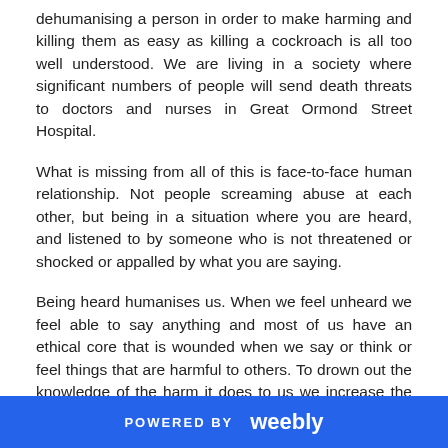dehumanising a person in order to make harming and killing them as easy as killing a cockroach is all too well understood. We are living in a society where significant numbers of people will send death threats to doctors and nurses in Great Ormond Street Hospital.
What is missing from all of this is face-to-face human relationship. Not people screaming abuse at each other, but being in a situation where you are heard, and listened to by someone who is not threatened or shocked or appalled by what you are saying.
Being heard humanises us. When we feel unheard we feel able to say anything and most of us have an ethical core that is wounded when we say or think or feel things that are harmful to others. To drown out the knowledge of the harm it does to us we increase the volume of our abuse. Therapy has always had a societal impact: a person who knows that
POWERED BY weebly